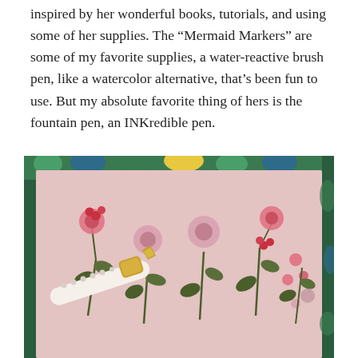inspired by her wonderful books, tutorials, and using some of her supplies. The “Mermaid Markers” are some of my favorite supplies, a water-reactive brush pen, like a watercolor alternative, that’s been fun to use. But my absolute favorite thing of hers is the fountain pen, an INKredible pen.
[Figure (photo): A photograph of an INKredible fountain pen with a gold and white decorative body resting on a pink floral-patterned notebook or card, surrounded by colorful botanical illustrations of pink flowers and dark green leaves. The background shows a colorful floral fabric or paper.]